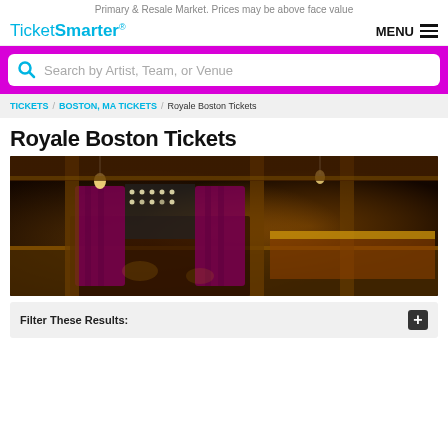Primary & Resale Market. Prices may be above face value
TicketSmarter MENU
Search by Artist, Team, or Venue
TICKETS / BOSTON, MA TICKETS / Royale Boston Tickets
Royale Boston Tickets
[Figure (photo): Interior of Royale Boston venue showing a large entertainment space with stage, red curtains, ornate columns, warm golden lighting, and a dance floor.]
Filter These Results: